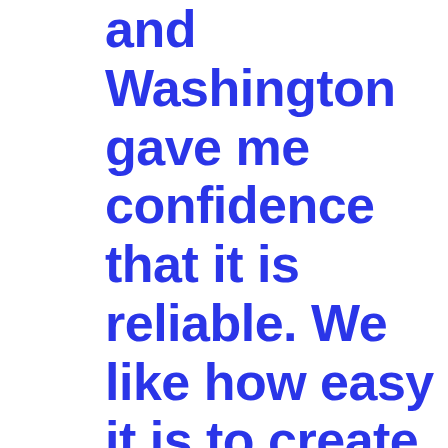and Washington gave me confidence that it is reliable. We like how easy it is to create new lessons and assign quizzes to them. The add-on library is fairly large to help expand its capabilities. It's a popular tool with a